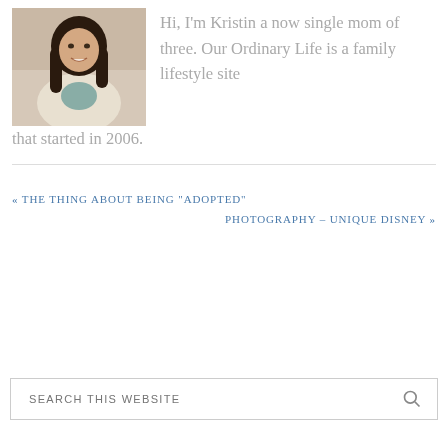[Figure (photo): Portrait photo of a young woman with long dark hair, smiling, wearing a white top]
Hi, I'm Kristin a now single mom of three. Our Ordinary Life is a family lifestyle site that started in 2006.
« THE THING ABOUT BEING “ADOPTED”
PHOTOGRAPHY – UNIQUE DISNEY »
SEARCH THIS WEBSITE